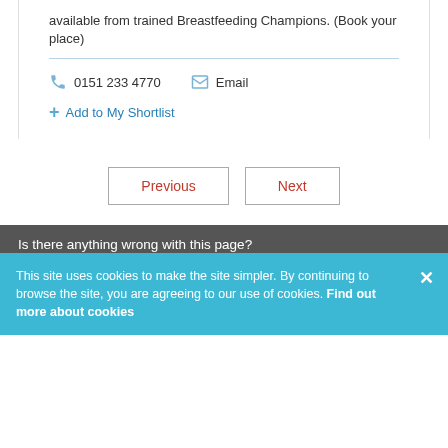available from trained Breastfeeding Champions. (Book your place)
0151 233 4770   Email
Add to My Shortlist
Previous   Next
Is there anything wrong with this page?
This site uses cookies to make the site simpler. By continuing to browse the site, you are agreeing to our use of cookies. Find out more about cookies